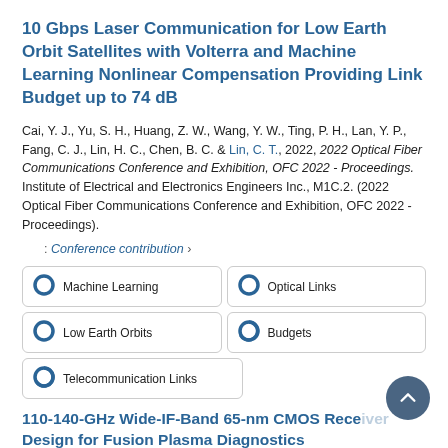10 Gbps Laser Communication for Low Earth Orbit Satellites with Volterra and Machine Learning Nonlinear Compensation Providing Link Budget up to 74 dB
Cai, Y. J., Yu, S. H., Huang, Z. W., Wang, Y. W., Ting, P. H., Lan, Y. P., Fang, C. J., Lin, H. C., Chen, B. C. & Lin, C. T., 2022, 2022 Optical Fiber Communications Conference and Exhibition, OFC 2022 - Proceedings. Institute of Electrical and Electronics Engineers Inc., M1C.2. (2022 Optical Fiber Communications Conference and Exhibition, OFC 2022 - Proceedings).
: Conference contribution ›
Machine Learning
Optical Links
Low Earth Orbits
Budgets
Telecommunication Links
110-140-GHz Wide-IF-Band 65-nm CMOS Rece... Design for Fusion Plasma Diagnostics